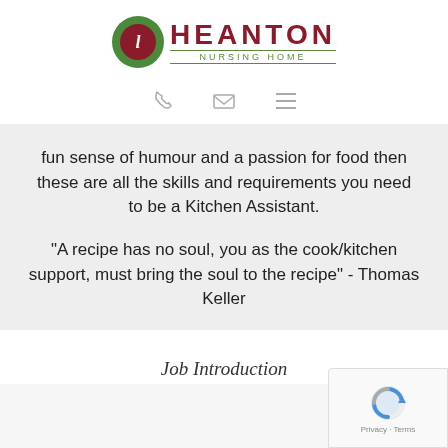[Figure (logo): Heanton Nursing Home logo with green and red circular emblem and text]
[Figure (infographic): Three navigation icons: phone, envelope/email, hamburger menu]
fun sense of humour and a passion for food then these are all the skills and requirements you need to be a Kitchen Assistant.
"A recipe has no soul, you as the cook/kitchen support, must bring the soul to the recipe" - Thomas Keller
Job Introduction
[Figure (logo): reCAPTCHA widget with Privacy and Terms links]